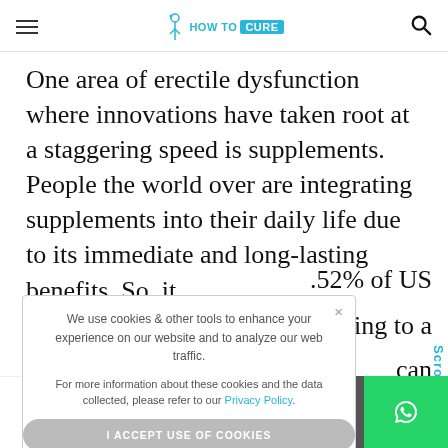HOW TO CURE
One area of erectile dysfunction where innovations have taken root at a staggering speed is supplements. People the world over are integrating supplements into their daily life due to its immediate and long-lasting benefits. So, it ...52% of US ...rding to a ...can
We use cookies & other tools to enhance your experience on our website and to analyze our web traffic.

For more information about these cookies and the data collected, please refer to our Privacy Policy.
I ACCEPT USE OF COOKIES
Scroll To
33 SHARES